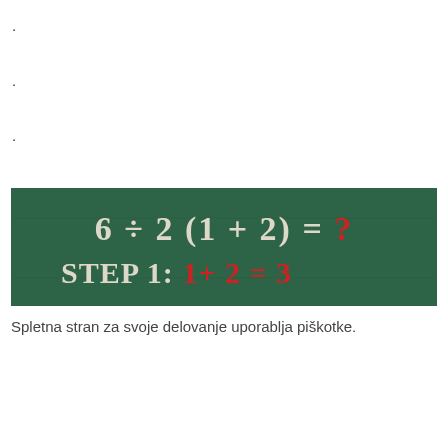·
·
·
[Figure (photo): A chalkboard showing the math problem '6 ÷ 2 (1 + 2) = ?' followed by 'STEP 1: 1 + 2 = 3' where the numbers in the equation are written in red chalk and the text in white chalk.]
Spletna stran za svoje delovanje uporablja piškotke.
Ok, se strinjam